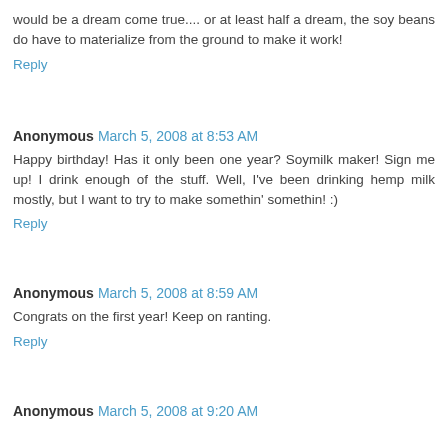would be a dream come true.... or at least half a dream, the soy beans do have to materialize from the ground to make it work!
Reply
Anonymous March 5, 2008 at 8:53 AM
Happy birthday! Has it only been one year? Soymilk maker! Sign me up! I drink enough of the stuff. Well, I've been drinking hemp milk mostly, but I want to try to make somethin' somethin! :)
Reply
Anonymous March 5, 2008 at 8:59 AM
Congrats on the first year! Keep on ranting.
Reply
Anonymous March 5, 2008 at 9:20 AM